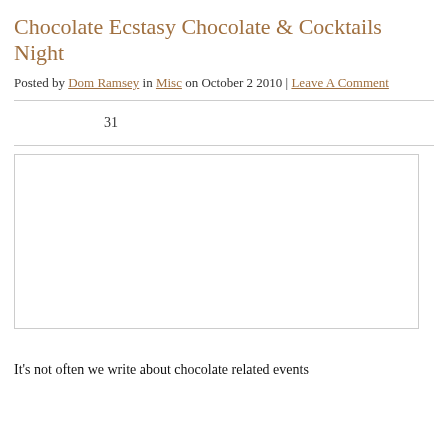Chocolate Ecstasy Chocolate & Cocktails Night
Posted by Dom Ramsey in Misc on October 2 2010 | Leave A Comment
31
[Figure (photo): Blank/white image placeholder]
It's not often we write about chocolate related events